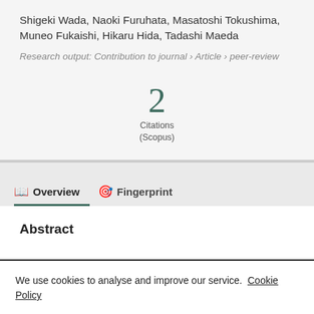Shigeki Wada, Naoki Furuhata, Masatoshi Tokushima, Muneo Fukaishi, Hikaru Hida, Tadashi Maeda
Research output: Contribution to journal › Article › peer-review
2 Citations (Scopus)
Overview   Fingerprint
Abstract
We use cookies to analyse and improve our service. Cookie Policy